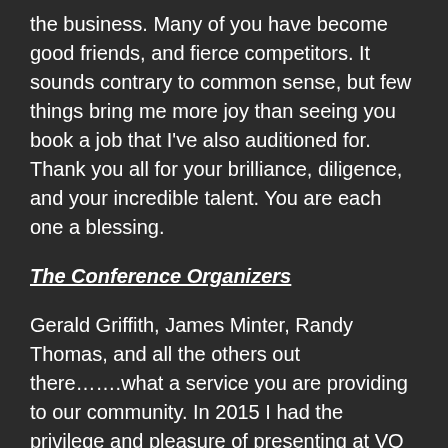the business. Many of you have become good friends, and fierce competitors. It sounds contrary to common sense, but few things bring me more joy than seeing you book a job that I've also auditioned for. Thank you all for your brilliance, diligence, and your incredible talent. You are each one a blessing.
The Conference Organizers
Gerald Griffith, James Minter, Randy Thomas, and all the others out there…….what a service you are providing to our community. In 2015 I had the privilege and pleasure of presenting at VO Atlanta, The Midwest Voiceover Conference, and The VO Mastery Event. These gatherings, and the others out there like them, offer so very much to new and seasoned talent alike. I have personally watched people build careers from the information learned and contacts made at these events. Moreover, the chance to commune with people who live and breathe the lives we all